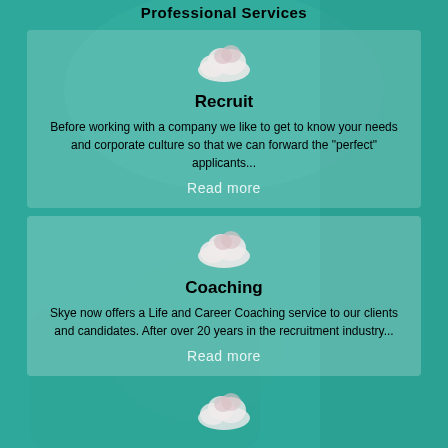Professional Services
[Figure (illustration): Cloud icon above Recruit section]
Recruit
Before working with a company we like to get to know your needs and corporate culture so that we can forward the "perfect" applicants...
Read more
[Figure (illustration): Cloud icon above Coaching section]
Coaching
Skye now offers a Life and Career Coaching service to our clients and candidates. After over 20 years in the recruitment industry...
Read more
[Figure (illustration): Cloud icon partially visible at bottom]